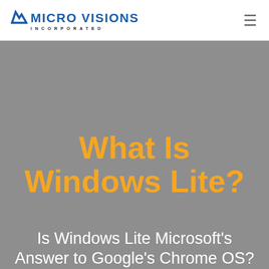[Figure (logo): Micro Visions Incorporated logo with blue stylized check/zigzag icon and blue text reading MICRO VISIONS with INCORPORATED in spaced letters below]
What Is Windows Lite?
Is Windows Lite Microsoft's Answer to Google's Chrome OS?